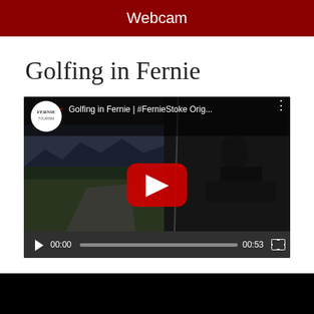Webcam
Golfing in Fernie
[Figure (screenshot): Embedded YouTube video player showing 'Golfing in Fernie | #FernieStoke Orig...' with a paused frame of a golf course scene and a person on a golf cart. Controls show 00:00 / 00:53.]